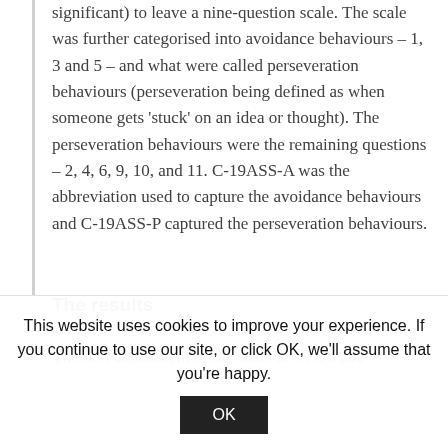significant) to leave a nine-question scale. The scale was further categorised into avoidance behaviours – 1, 3 and 5 – and what were called perseveration behaviours (perseveration being defined as when someone gets 'stuck' on an idea or thought). The perseveration behaviours were the remaining questions – 2, 4, 6, 9, 10, and 11. C-19ASS-A was the abbreviation used to capture the avoidance behaviours and C-19ASS-P captured the perseveration behaviours.
The results
The first assessment of the scale involved 292
This website uses cookies to improve your experience. If you continue to use our site, or click OK, we'll assume that you're happy.